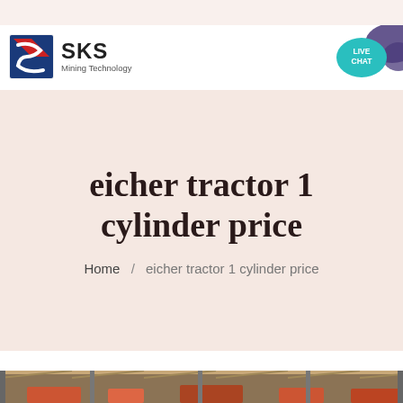SKS Mining Technology
[Figure (logo): SKS Mining Technology logo with stylized S icon in red and blue, company name 'SKS' in bold with subtitle 'Mining Technology']
[Figure (other): Live Chat button - teal speech bubble with 'LIVE CHAT' text and purple decorative element]
eicher tractor 1 cylinder price
Home / eicher tractor 1 cylinder price
[Figure (photo): Partial view of industrial/factory interior with steel structures and red/orange machinery visible at the bottom of the page]